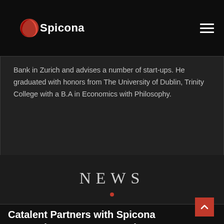Spicona
Bank in Zurich and advises a number of start-ups. He graduated with honors from The University of Dublin, Trinity College with a B.A in Economics with Philosophy.
NEWS
Catalent Partners with Spicona to Develop COVID-19 Vaccine